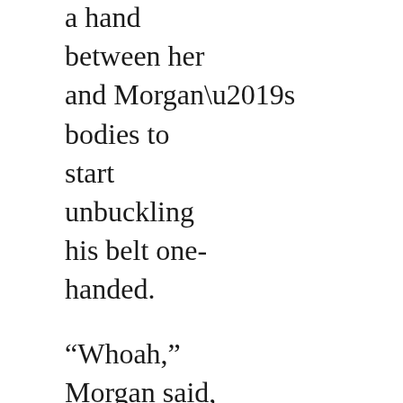a hand between her and Morgan’s bodies to start unbuckling his belt one-handed.
“Whoah,” Morgan said, “um,”
“Sorry,” Jane said, and she sounded like